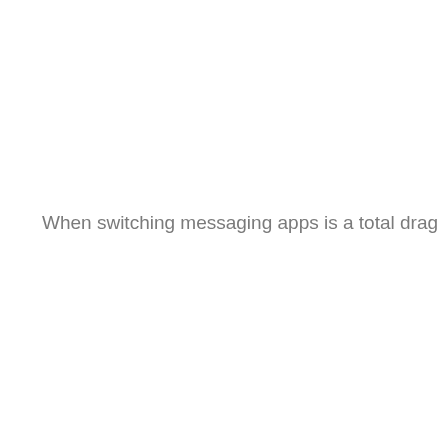When switching messaging apps is a total drag